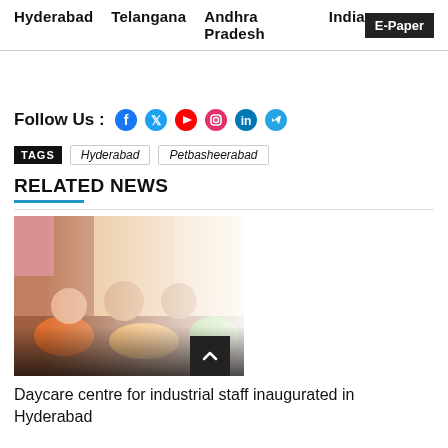Hyderabad  Telangana  Andhra Pradesh  India  E-Paper
Follow Us : [social icons: Facebook, Twitter, YouTube, Instagram, LinkedIn, Telegram]
TAGS  Hyderabad  Petbasheerabad
RELATED NEWS
[Figure (photo): Children playing on ride-on toys in colorful daycare centre]
Daycare centre for industrial staff inaugurated in Hyderabad